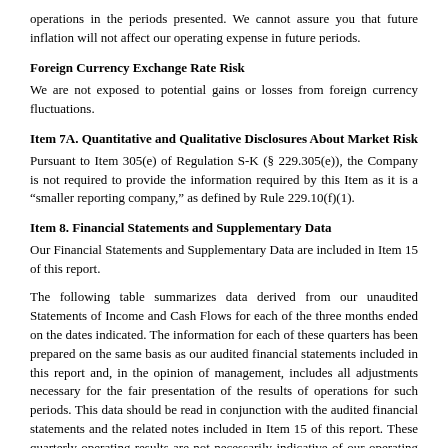operations in the periods presented. We cannot assure you that future inflation will not affect our operating expense in future periods.
Foreign Currency Exchange Rate Risk
We are not exposed to potential gains or losses from foreign currency fluctuations.
Item 7A. Quantitative and Qualitative Disclosures About Market Risk
Pursuant to Item 305(e) of Regulation S-K (§ 229.305(e)), the Company is not required to provide the information required by this Item as it is a “smaller reporting company,” as defined by Rule 229.10(f)(1).
Item 8. Financial Statements and Supplementary Data
Our Financial Statements and Supplementary Data are included in Item 15 of this report.
The following table summarizes data derived from our unaudited Statements of Income and Cash Flows for each of the three months ended on the dates indicated. The information for each of these quarters has been prepared on the same basis as our audited financial statements included in this report and, in the opinion of management, includes all adjustments necessary for the fair presentation of the results of operations for such periods. This data should be read in conjunction with the audited financial statements and the related notes included in Item 15 of this report. These quarterly operating results are not necessarily indicative of our operating results for any future period.